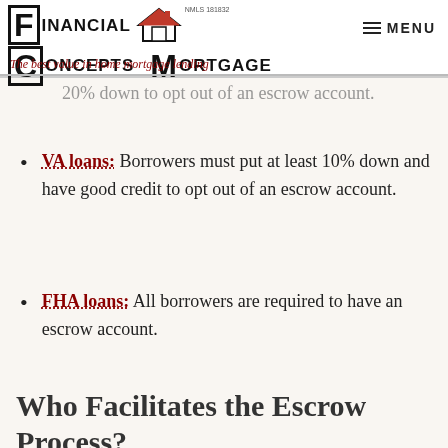Financial Concepts Mortgage NMLS 181632 — The best value in home mortgage lending
20% down to opt out of an escrow account.
VA loans: Borrowers must put at least 10% down and have good credit to opt out of an escrow account.
FHA loans: All borrowers are required to have an escrow account.
Who Facilitates the Escrow Process?